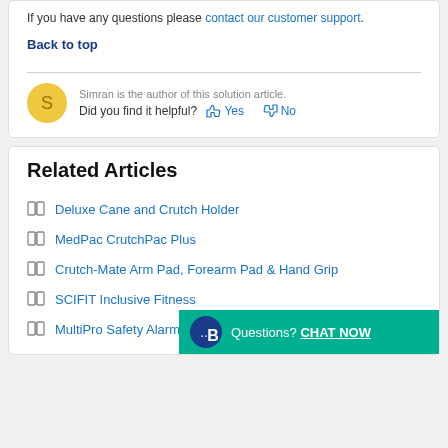If you have any questions please contact our customer support.
Back to top
Simran is the author of this solution article.
Did you find it helpful? Yes No
Related Articles
Deluxe Cane and Crutch Holder
MedPac CrutchPac Plus
Crutch-Mate Arm Pad, Forearm Pad & Hand Grip
SCIFIT Inclusive Fitness
MultiPro Safety Alarm
Questions? CHAT NOW